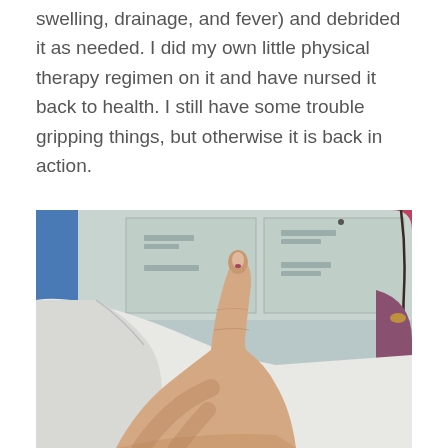swelling, drainage, and fever) and debrided it as needed. I did my own little physical therapy regimen on it and have nursed it back to health. I still have some trouble gripping things, but otherwise it is back in action.
[Figure (photo): A close-up photograph showing a person's hand with thumb raised, displaying a small wound or healing area on the fingertip. In the background there is white medical paper/drape and clinical cabinetry.]